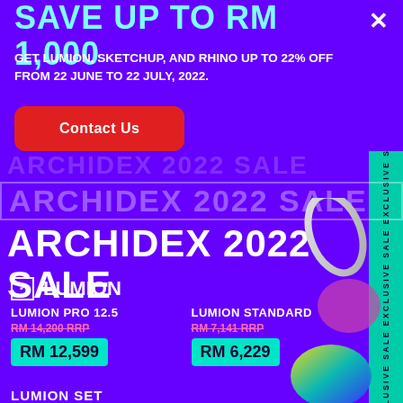SAVE UP TO RM 1,000
GET LUMION, SKETCHUP, AND RHINO UP TO 22% OFF FROM 22 JUNE TO 22 JULY, 2022.
Contact Us
ARCHIDEX 2022 SALE
ARCHIDEX 2022 SALE
ARCHIDEX 2022 SALE
LUMION
| Product | RRP | Sale Price |
| --- | --- | --- |
| LUMION PRO 12.5 | RM 14,200 RRP | RM 12,599 |
| LUMION STANDARD | RM 7,141 RRP | RM 6,229 |
LUMION SET
EXCLUSIVE SALE EXCLUSIVE SALE EXCLUSIVE SALE